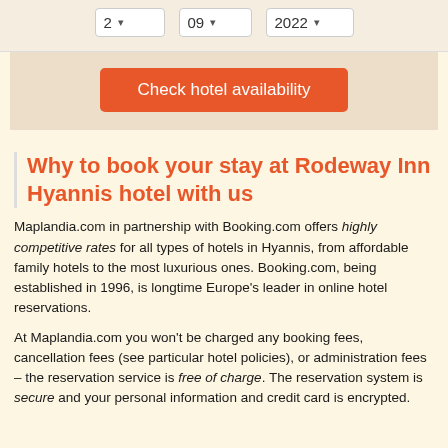[Figure (screenshot): Three dropdown selectors showing values: 2, 09, 2022 with a 'Check hotel availability' orange button below]
Why to book your stay at Rodeway Inn Hyannis hotel with us
Maplandia.com in partnership with Booking.com offers highly competitive rates for all types of hotels in Hyannis, from affordable family hotels to the most luxurious ones. Booking.com, being established in 1996, is longtime Europe's leader in online hotel reservations.
At Maplandia.com you won't be charged any booking fees, cancellation fees (see particular hotel policies), or administration fees – the reservation service is free of charge. The reservation system is secure and your personal information and credit card is encrypted.